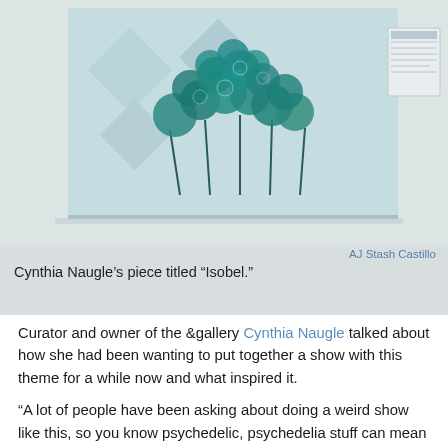[Figure (photo): A painting titled Isobel by Cynthia Naugle, showing teal/green circular organic shapes on a light background, hanging on a gallery wall. A small placard is visible on the right side of the wall.]
AJ Stash Castillo
Cynthia Naugle’s piece titled “Isobel.”
Curator and owner of the &gallery Cynthia Naugle talked about how she had been wanting to put together a show with this theme for a while now and what inspired it.
“A lot of people have been asking about doing a weird show like this, so you know psychedelic, psychedelia stuff can mean a lot of different things to different people,” Naugle said. “It can mean the usage of drugs or weird, trippy looking stuff or things that like trick the eye or whatever it is. So we wanted to do an art